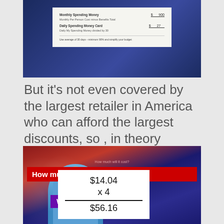[Figure (photo): Screenshot of a budget document/form showing Monthly Spending Money and Daily Spending Money Card fields against a dark blue background]
But it's not even covered by the largest retailer in America who can afford the largest discounts, so , in theory should be able to provide the best workplaces!
[Figure (screenshot): News-style graphic showing 'How much will it cost?' in red banner, 'Weekly' in purple badge, and a white calculation box showing $14.04 x 4 = $56.16, with a person in blue shirt visible, against American flag background]